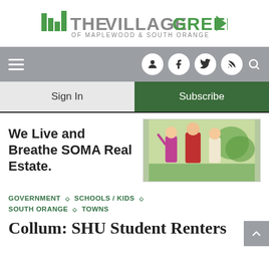[Figure (logo): The Village Green of Maplewood & South Orange logo with green bar chart icon and green triangle arrow]
[Figure (screenshot): Navigation bar with hamburger menu, user/account, Facebook, Twitter, RSS, and search icons on grey background]
Sign In
Subscribe
[Figure (infographic): Real estate advertisement: 'We Live and Breathe SOMA Real Estate.' with photo of three women in colorful dresses outdoors]
GOVERNMENT ◇ SCHOOLS / KIDS ◇ SOUTH ORANGE ◇ TOWNS
Collum: SHU Student Renters